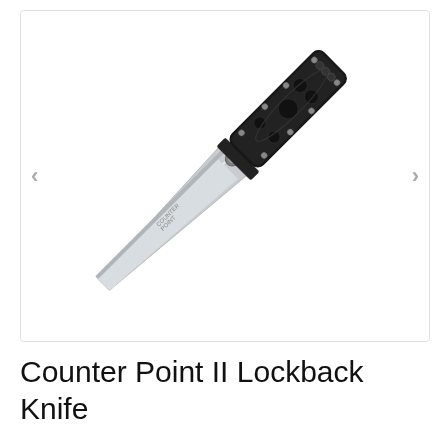[Figure (photo): A Counter Point II Lockback folding knife displayed diagonally against a white background. The knife has a silver/stainless steel blade with 'Counter Point' branding etched near the spine. The handle is black textured polymer with multiple circular cutouts and silver screws/rivets. The knife is shown open/deployed.]
Counter Point II Lockback Knife